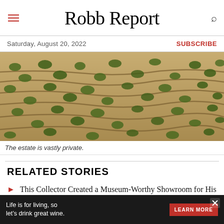Robb Report
Saturday, August 20, 2022
SUBSCRIBE
[Figure (photo): Aerial view of a vast terraced estate with olive trees and sandy terrain, showing private agricultural landscape with stone walls.]
The estate is vastly private.
RELATED STORIES
This Collector Created a Museum-Worthy Showroom for His ‘Library’ of Ferraris, Porsches and Aston Martins
This $22.3 Million Coral Gables Mansion Comes With a Canal That'll Fit Your 100-Foot Yacht
Life is for living, so let's drink great wine.
LEARN MORE